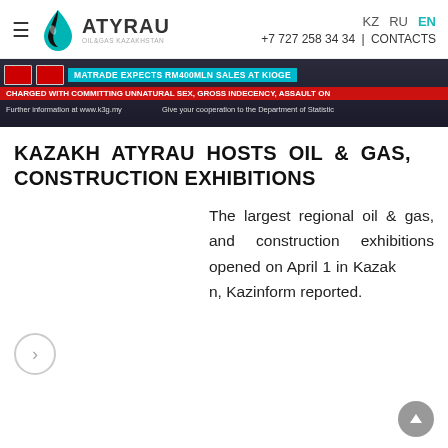KZ  RU  EN  +7 727 258 34 34 | CONTACTS  ATYRAU OIL&GAS KAZAKHSTAN
[Figure (screenshot): TV news ticker banner showing headlines in cyan and red bars on dark background]
KAZAKH ATYRAU HOSTS OIL & GAS, CONSTRUCTION EXHIBITIONS
The largest regional oil & gas, and construction exhibitions opened on April 1 in Kazakhstan, Kazinform reported.